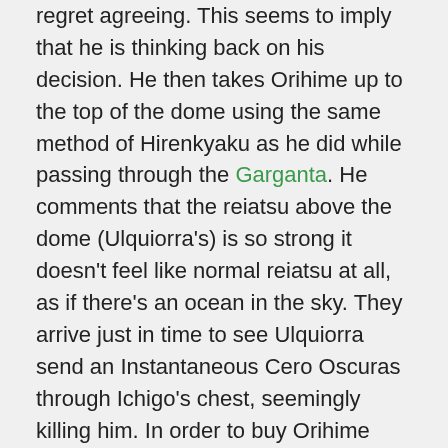regret agreeing. This seems to imply that he is thinking back on his decision. He then takes Orihime up to the top of the dome using the same method of Hirenkyaku as he did while passing through the Garganta. He comments that the reiatsu above the dome (Ulquiorra's) is so strong it doesn't feel like normal reiatsu at all, as if there's an ocean in the sky. They arrive just in time to see Ulquiorra send an Instantaneous Cero Oscuras through Ichigo's chest, seemingly killing him. In order to buy Orihime time to heal Ichigo, Uryū faces off against Ulquiorra and fires a thousand arrows. They have no effect, to which Ulquiorra remarks how he thought Uryū was the calmest of all Ichigo's friends. Uryū states that he is fighting him because he is calm. During his fight with the Espada he suffers great injuries, including the loss of his left hand. However, Uryū had already applied anesthesia and stopped the bleeding from his injury. Telling Orihime to focus on Ichigo, Uryū draws out a Seele Schneider and continues to fight. Ulquiorra shoots him with a variation of Cero to knock him